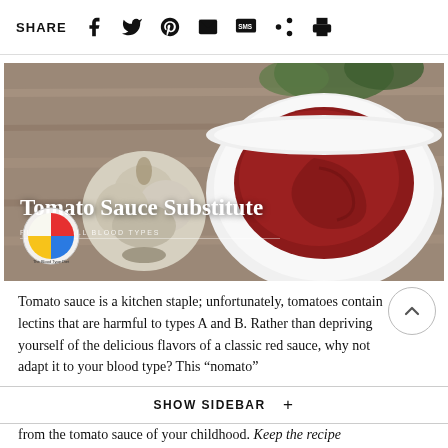SHARE
[Figure (photo): Food photo showing a white bowl of deep red tomato/nomato sauce and a head of garlic on a wooden surface, with herbs in the background. Overlaid text reads 'Tomato Sauce Substitute' and 'RIGHT 4 ALL BLOOD TYPES'. A circular Blood Type Diet logo appears in the bottom-left corner.]
Tomato sauce is a kitchen staple; unfortunately, tomatoes contain lectins that are harmful to types A and B. Rather than depriving yourself of the delicious flavors of a classic red sauce, why not adapt it to your blood type? This “nomato”
from the tomato sauce of your childhood. Keep the recipe